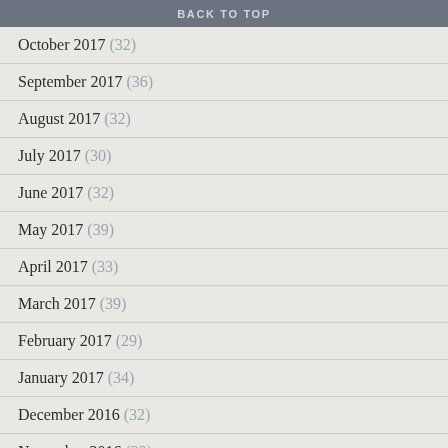BACK TO TOP
October 2017 (32)
September 2017 (36)
August 2017 (32)
July 2017 (30)
June 2017 (32)
May 2017 (39)
April 2017 (33)
March 2017 (39)
February 2017 (29)
January 2017 (34)
December 2016 (32)
November 2016 (32)
October 2016 (34)